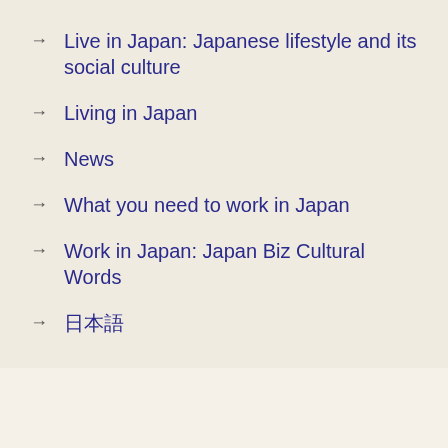Live in Japan: Japanese lifestyle and its social culture
Living in Japan
News
What you need to work in Japan
Work in Japan: Japan Biz Cultural Words
日本語